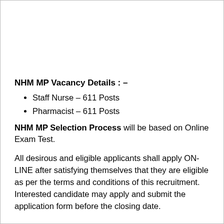NHM MP Vacancy Details : –
Staff Nurse – 611 Posts
Pharmacist – 611 Posts
NHM MP Selection Process will be based on Online Exam Test.
All desirous and eligible applicants shall apply ON-LINE after satisfying themselves that they are eligible as per the terms and conditions of this recruitment. Interested candidate may apply and submit the application form before the closing date.